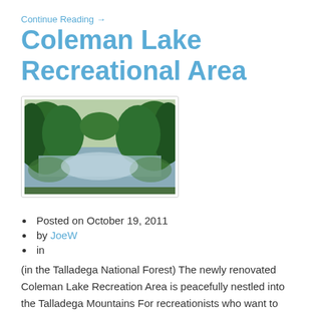Continue Reading →
Coleman Lake Recreational Area
[Figure (photo): Photograph of Coleman Lake showing a calm lake surrounded by green trees and forest]
Posted on October 19, 2011
by JoeW
in
(in the Talladega National Forest) The newly renovated Coleman Lake Recreation Area is peacefully nestled into the Talladega Mountains For recreationists who want to get away from the crowds, but want a few modern conveniences, Coleman Lake Recreation Area is your place to be. There are 39